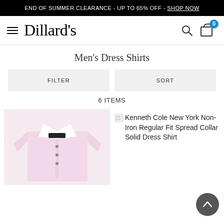END OF SUMMER CLEARANCE - UP TO 65% OFF - SHOP NOW
[Figure (logo): Dillard's department store logo with hamburger menu icon, search icon, and cart icon with badge showing 0]
Men's Dress Shirts
FILTER
SORT
6 ITEMS
[Figure (photo): Pink men's dress shirt with white collar, folded and photographed on white background]
Kenneth Cole New York Non-Iron Regular Fit Spread Collar Solid Dress Shirt